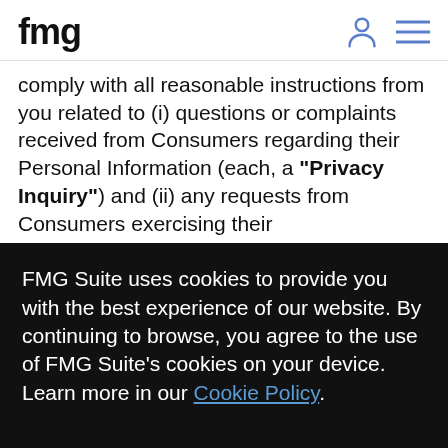fmg
comply with all reasonable instructions from you related to (i) questions or complaints received from Consumers regarding their Personal Information (each, a "Privacy Inquiry") and (ii) any requests from Consumers exercising their
FMG Suite uses cookies to provide you with the best experience of our website. By continuing to browse, you agree to the use of FMG Suite's cookies on your device. Learn more in our Cookie Policy.